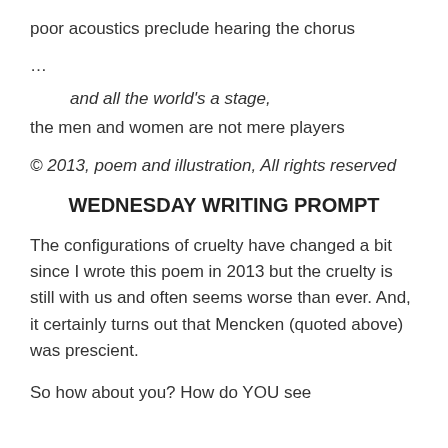poor acoustics preclude hearing the chorus
…
and all the world's a stage,
the men and women are not mere players
© 2013, poem and illustration, All rights reserved
WEDNESDAY WRITING PROMPT
The configurations of cruelty have changed a bit since I wrote this poem in 2013 but the cruelty is still with us and often seems worse than ever. And, it certainly turns out that Mencken (quoted above) was prescient.
So how about you? How do YOU see